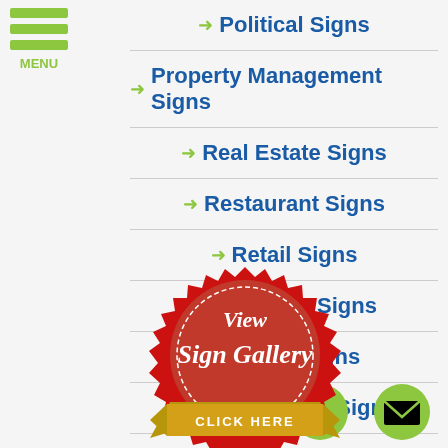[Figure (logo): Hamburger menu icon with three green bars and MENU label]
Political Signs
Property Management Signs
Real Estate Signs
Restaurant Signs
Retail Signs
Salon Signs
School Signs
Small Business Signs
[Figure (illustration): Red badge seal with View Sign Gallery text and gold CLICK HERE banner]
Warehouse Signs
[Figure (illustration): Green phone call button icon]
[Figure (illustration): Green email/envelope button icon]